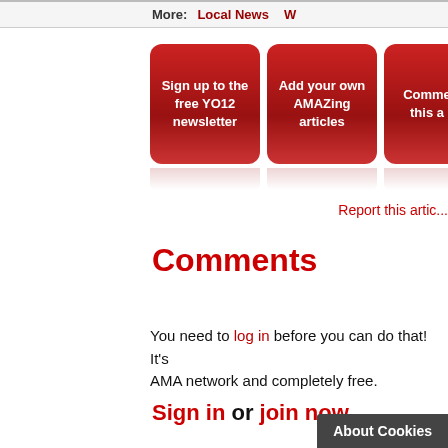More: | Local News | W...
[Figure (other): Three red rounded buttons: 'Sign up to the free YO12 newsletter', 'Add your own AMAZing articles', 'Comme... this a...']
Report this artic...
Comments
You need to log in before you can do that! It's... AMA network and completely free.
Sign in or join now
B... © Copyright 2... AboutMyA... YO12: YO12 Home | News | Co... AboutMyArea: Home | Site Map | Co... ...ms
About Cookies